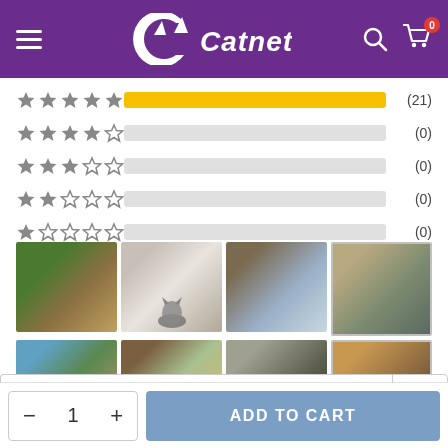Catnets — navigation header with hamburger menu, logo, search and cart icons
[Figure (infographic): Star rating breakdown bars: 5-star (21), 4-star (0), 3-star (0), 2-star (0), 1-star (0)]
[Figure (photo): 8 thumbnail photos of cat enclosures and cats in various outdoor settings arranged in a 4x2 grid]
✎  Write a Review
− 1 +   ADD TO CART